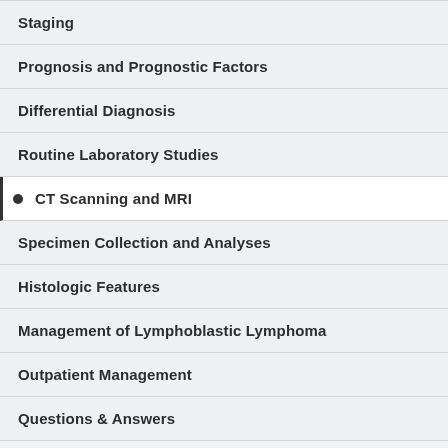Staging
Prognosis and Prognostic Factors
Differential Diagnosis
Routine Laboratory Studies
CT Scanning and MRI
Specimen Collection and Analyses
Histologic Features
Management of Lymphoblastic Lymphoma
Outpatient Management
Questions & Answers